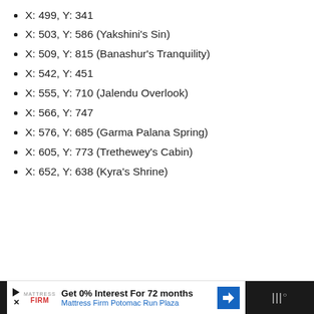X: 499, Y: 341
X: 503, Y: 586 (Yakshini's Sin)
X: 509, Y: 815 (Banashur's Tranquility)
X: 542, Y: 451
X: 555, Y: 710 (Jalendu Overlook)
X: 566, Y: 747
X: 576, Y: 685 (Garma Palana Spring)
X: 605, Y: 773 (Trethewey's Cabin)
X: 652, Y: 638 (Kyra's Shrine)
Get 0% Interest For 72 months Mattress Firm Potomac Run Plaza